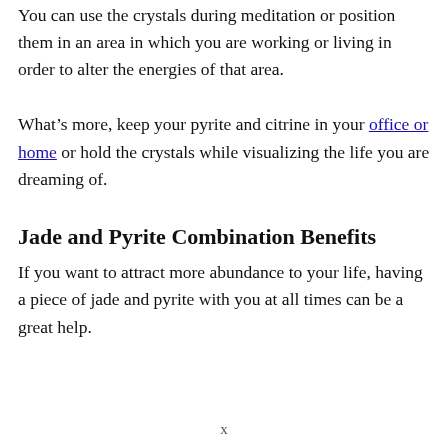You can use the crystals during meditation or position them in an area in which you are working or living in order to alter the energies of that area.
What’s more, keep your pyrite and citrine in your office or home or hold the crystals while visualizing the life you are dreaming of.
Jade and Pyrite Combination Benefits
If you want to attract more abundance to your life, having a piece of jade and pyrite with you at all times can be a great help.
x